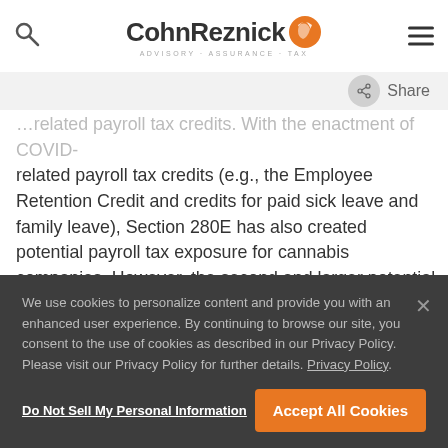CohnReznick | ADVISORY · ASSURANCE · TAX
related payroll tax credits (e.g., the Employee Retention Credit and credits for paid sick leave and family leave), Section 280E has also created potential payroll tax exposure for cannabis companies. However, the second and larger potential payroll tax issue has been fraud perpetrated by payroll companies that have taken advantage of their clients' trust, their lack of knowledge of the payroll tax rules, or both. We've seen payroll tax fraud most often where the cannabis company uses a payroll
We use cookies to personalize content and provide you with an enhanced user experience. By continuing to browse our site, you consent to the use of cookies as described in our Privacy Policy. Please visit our Privacy Policy for further details. Privacy Policy.
Do Not Sell My Personal Information
Accept All Cookies